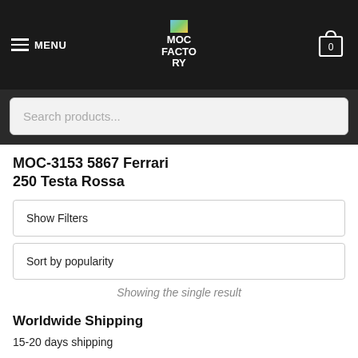MENU | MOC FACTORY | 0
Search products...
MOC-3153 5867 Ferrari 250 Testa Rossa
Show Filters
Sort by popularity
Showing the single result
Worldwide Shipping
15-20 days shipping